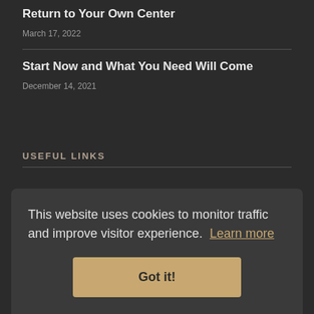Return to Your Own Center
March 17, 2022
Start Now and What You Need Will Come
December 14, 2021
USEFUL LINKS
This website uses cookies to monitor traffic and improve visitor experience. Learn more
Got it!
Amazon Store